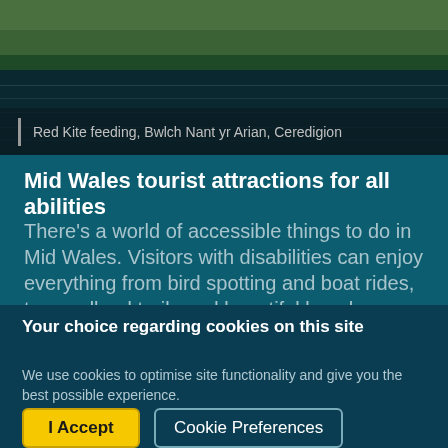[Figure (photo): Aerial or landscape photo of water/river at Bwlch Nant yr Arian, Ceredigion with greenery and dark water]
Red Kite feeding, Bwlch Nant yr Arian, Ceredigion
Mid Wales tourist attractions for all abilities
There's a world of accessible things to do in Mid Wales. Visitors with disabilities can enjoy everything from bird spotting and boat rides, to woodland trails and beautiful beaches. Mid Wales
Your choice regarding cookies on this site
We use cookies to optimise site functionality and give you the best possible experience.
I Accept | Cookie Preferences